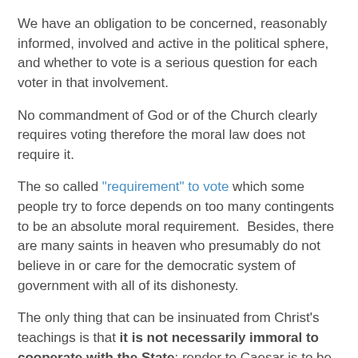We have an obligation to be concerned, reasonably informed, involved and active in the political sphere, and whether to vote is a serious question for each voter in that involvement.
No commandment of God or of the Church clearly requires voting therefore the moral law does not require it.
The so called "requirement" to vote which some people try to force depends on too many contingents to be an absolute moral requirement.  Besides, there are many saints in heaven who presumably do not believe in or care for the democratic system of government with all of its dishonesty.
The only thing that can be insinuated from Christ's teachings is that it is not necessarily immoral to cooperate with the State: render to Caesar is to be interpreted broadly--freedom--to do or not to do. The question in the "render to Caesar" issue ("Is it lawful to give tribute to Caesar, or not?" Mt. 22:17) was not whether is was obligatory to pay tax but whether is was legitimate to pay it, i.e. to participate in the corrupt system:  The Lord said it was OK.  I too